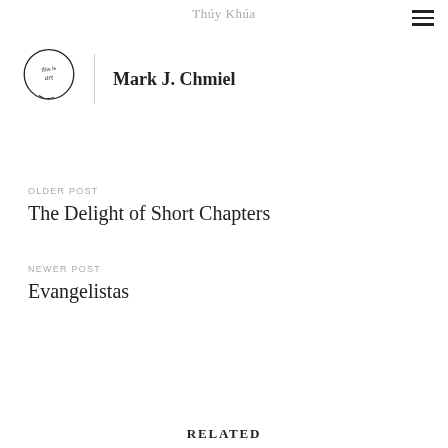Thuy Khūa
[Figure (logo): Circular logo with handwritten text 'this is art' inside]
Mark J. Chmiel
OLDER POST
The Delight of Short Chapters
NEWER POST
Evangelistas
RELATED